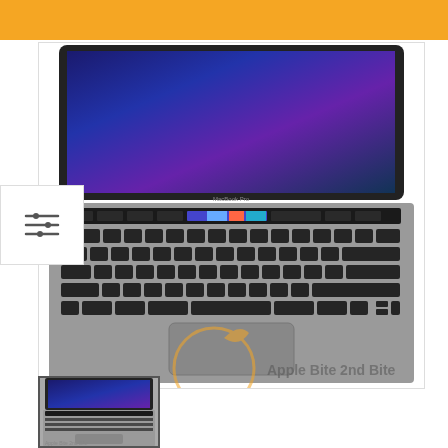[Figure (photo): Orange header bar at top of page]
[Figure (photo): Apple MacBook Pro with Touch Bar shown from top-down perspective, space gray color, with keyboard and trackpad visible, watermarked with Apple Bite 2nd Bite logo]
[Figure (other): Filter/sort icon with three horizontal lines of decreasing length]
[Figure (photo): Small thumbnail of same MacBook Pro image with Apple Bite 2nd Bite watermark]